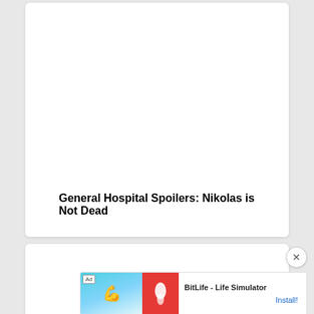General Hospital Spoilers: Nikolas is Not Dead
[Figure (other): Advertisement banner for BitLife - Life Simulator app, showing ad label, game icon with muscle emoji, red BitLife logo section, app name, and Install button]